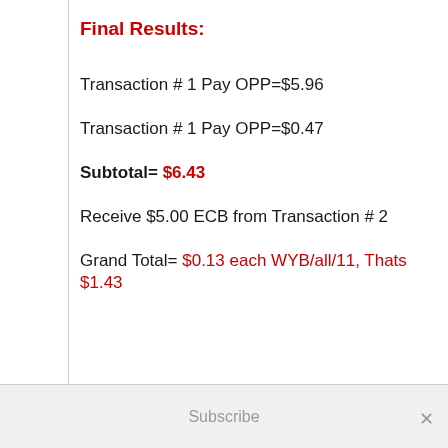Final Results:
Transaction # 1 Pay OPP=$5.96
Transaction # 1 Pay OPP=$0.47
Subtotal= $6.43
Receive $5.00 ECB from Transaction # 2
Grand Total= $0.13 each WYB/all/11, Thats $1.43
Subscribe  ×